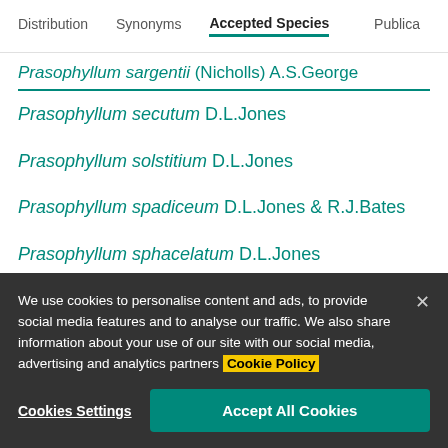Distribution  Synonyms  Accepted Species  Publica
Prasophyllum sargentii (Nicholls) A.S.George
Prasophyllum secutum D.L.Jones
Prasophyllum solstitium D.L.Jones
Prasophyllum spadiceum D.L.Jones & R.J.Bates
Prasophyllum sphacelatum D.L.Jones
Prasophyllum spicatum R.J.Bates & D.L.Jones
Prasophyllum stellatum D.L.Jones
We use cookies to personalise content and ads, to provide social media features and to analyse our traffic. We also share information about your use of our site with our social media, advertising and analytics partners Cookie Policy
Cookies Settings  Accept All Cookies